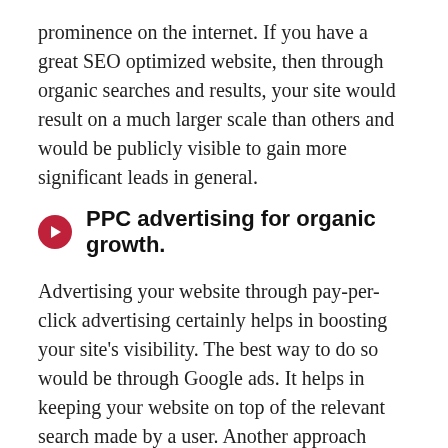prominence on the internet. If you have a great SEO optimized website, then through organic searches and results, your site would result on a much larger scale than others and would be publicly visible to gain more significant leads in general.
PPC advertising for organic growth.
Advertising your website through pay-per-click advertising certainly helps in boosting your site's visibility. The best way to do so would be through Google ads. It helps in keeping your website on top of the relevant search made by a user. Another approach would be through ad campaigns where you could target the clients that have checked your site out but haven't consulted for your services. Thus, using the platform of Google ads and implanting the